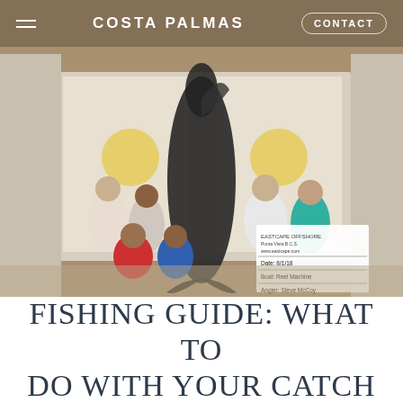COSTA PALMAS | CONTACT
[Figure (photo): Group photo of six fishermen posing with a large caught fish (likely a black marlin or bluefin tuna) hung on a display rack at a Bisbee's fishing tournament. A whiteboard sign reads: EASTCAPE OFFSHORE Punta Vista B.C.S. Date: 8/1/18, Boat: Reel Machine, Angler: Steve McCoy. Bisbee's tournament banners visible in the background.]
FISHING GUIDE: WHAT TO DO WITH YOUR CATCH